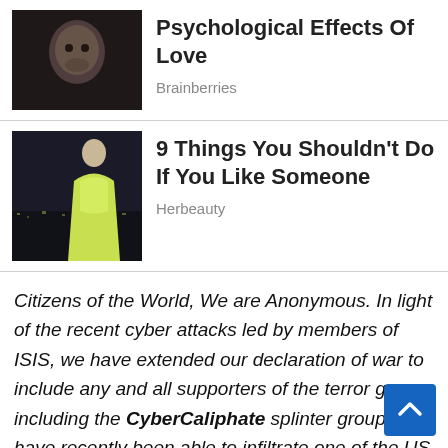[Figure (photo): Dark close-up photo used as thumbnail for article about Psychological Effects Of Love]
Psychological Effects Of Love
Brainberries
[Figure (photo): Photo of woman in yellow dress used as thumbnail for article about 9 Things You Shouldn't Do If You Like Someone]
9 Things You Shouldn't Do If You Like Someone
Herbeauty
Citizens of the World, We are Anonymous. In light of the recent cyber attacks led by members of ISIS, we have extended our declaration of war to include any and all supporters of the terror group including the CyberCaliphate splinter group who have recently been able to infiltrate one of the US Central Command servers and leaked sensitive information that may likely be